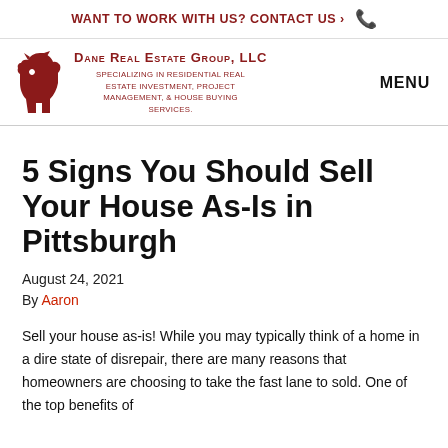WANT TO WORK WITH US? CONTACT US ›  🕿
[Figure (logo): Dane Real Estate Group LLC logo with red dog silhouette and company name and tagline. MENU navigation button on the right.]
5 Signs You Should Sell Your House As-Is in Pittsburgh
August 24, 2021
By Aaron
Sell your house as-is! While you may typically think of a home in a dire state of disrepair, there are many reasons that homeowners are choosing to take the fast lane to sold. One of the top benefits of